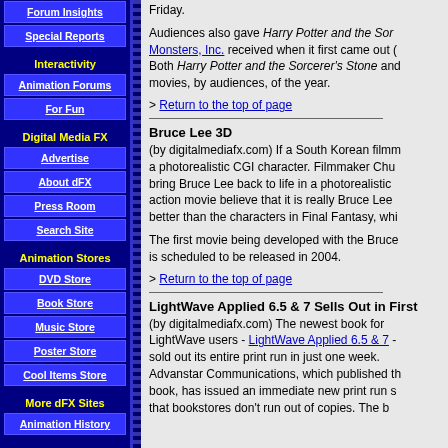Forum Insights
Special Reports
Interactivity
Animation Forums
For Fun
Digital Media FX
Advertise
About dFX
Press Room
Search Site
Animation Stores
DVD Store
Book Store
Music Store
Poster Store
Cool Items Store
More dFX Sites
Animation History
Friday.
Audiences also gave Harry Potter and the Sorcerer's Stone and Monsters, Inc. received when it first came out ( Both Harry Potter and the Sorcerer's Stone and movies, by audiences, of the year.
> Return to the top of page
Bruce Lee 3D
(by digitalmediafx.com) If a South Korean filmm a photorealistic CGI character. Filmmaker Chu bring Bruce Lee back to life in a photorealistic action movie believe that it is really Bruce Lee better than the characters in Final Fantasy, whi
The first movie being developed with the Bruce is scheduled to be released in 2004.
> Return to the top of page
LightWave Applied 6.5 & 7 Sells Out in First
(by digitalmediafx.com) The newest book for LightWave users - LightWave Applied 6.5 & 7 - sold out its entire print run in just one week. Advanstar Communications, which published the book, has issued an immediate new print run so that bookstores don't run out of copies. The b